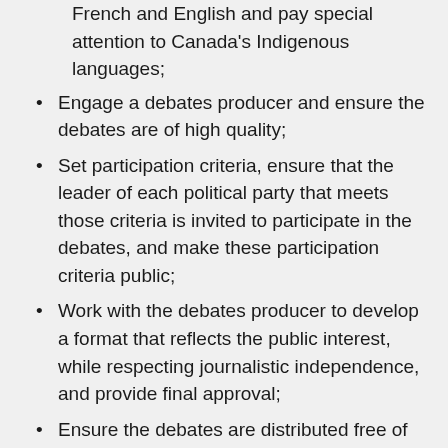French and English and pay special attention to Canada's Indigenous languages;
Engage a debates producer and ensure the debates are of high quality;
Set participation criteria, ensure that the leader of each political party that meets those criteria is invited to participate in the debates, and make these participation criteria public;
Work with the debates producer to develop a format that reflects the public interest, while respecting journalistic independence, and provide final approval;
Ensure the debates are distributed free of charge, reach as many Canadians as possible, including those living in remote areas and those living with disabilities;
Engage in public outreach to raise awareness about debates; and
Prepare a report to Parliament following the next